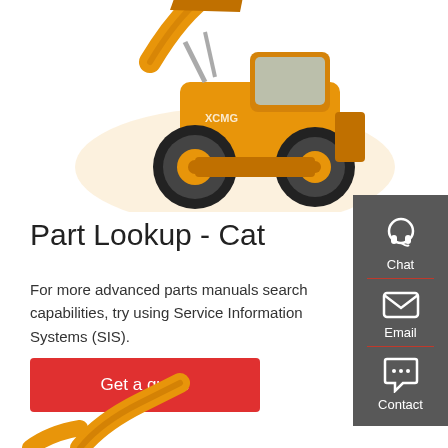[Figure (photo): Yellow/orange wheel loader (XCMG brand) with raised bucket, photographed on white background, top portion visible]
Part Lookup - Cat
For more advanced parts manuals search capabilities, try using Service Information Systems (SIS).
[Figure (infographic): Dark grey sidebar panel with three icons: Chat (headset icon), Email (envelope icon), Contact (speech bubble with dots icon), separated by red divider lines]
[Figure (photo): Partial view of yellow/orange excavator at bottom of page]
Get a quote